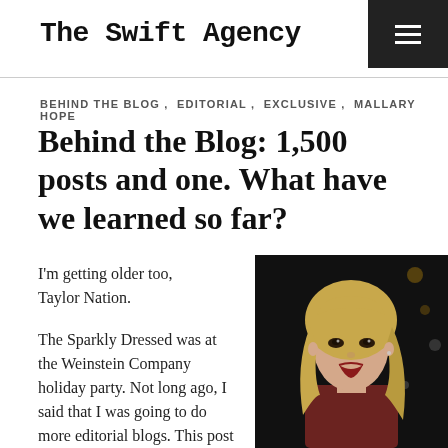The Swift Agency
BEHIND THE BLOG, EDITORIAL, EXCLUSIVE, MALLARY HOPE
Behind the Blog: 1,500 posts and one. What have we learned so far?
I'm getting older too, Taylor Nation.
The Sparkly Dressed was at the Weinstein Company holiday party. Not long ago, I said that I was going to do more editorial blogs. This post
[Figure (photo): Portrait of a blonde woman in a dark red top against a dark background]